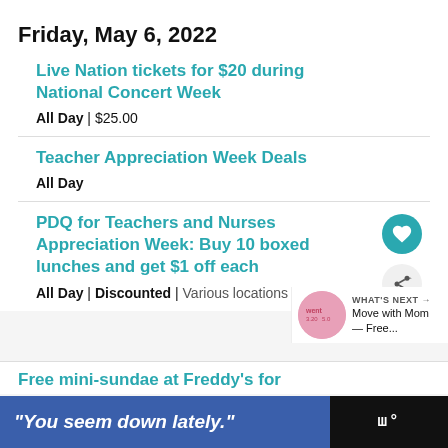Friday, May 6, 2022
Live Nation tickets for $20 during National Concert Week
All Day | $25.00
Teacher Appreciation Week Deals
All Day
PDQ for Teachers and Nurses Appreciation Week: Buy 10 boxed lunches and get $1 off each
All Day | Discounted | Various locations
Free mini-sundae at Freddy's for
[Figure (screenshot): What's Next overlay with circular image and text 'Move with Mom — Free...']
"You seem down lately."